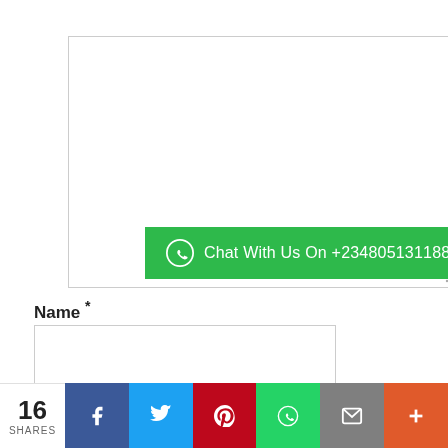[Figure (screenshot): Empty textarea input box with a resize handle in the bottom right corner]
Chat With Us On +2348051311885,
Name *
[Figure (screenshot): Empty text input field for Name]
16 SHARES
[Figure (infographic): Social share bar with Facebook, Twitter, Pinterest, WhatsApp, Email, and Plus buttons]